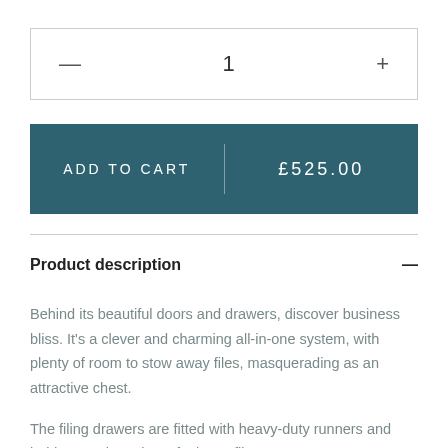— 1 +
ADD TO CART £525.00
Product description
Behind its beautiful doors and drawers, discover business bliss. It's a clever and charming all-in-one system, with plenty of room to stow away files, masquerading as an attractive chest.
The filing drawers are fitted with heavy-duty runners and hold approximately 20 foolscap files.